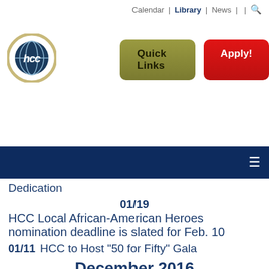Calendar | Library | News | | 🔍
[Figure (logo): HCC circular logo with globe icon, gold/tan border ring]
[Figure (other): Quick Links button (olive/gold rounded rectangle) and Apply! button (red rounded rectangle)]
[Figure (other): Dark navy navigation bar with hamburger menu icon (three horizontal lines) on right]
Dedication
01/19
HCC Local African-American Heroes nomination deadline is slated for Feb. 10
01/11    HCC to Host "50 for Fifty" Gala
December 2016
12/19
HCC's BLET Academy graduates officer class
12/16
HCC Hosts Performance of Santa's Christmas Miracle
12/15